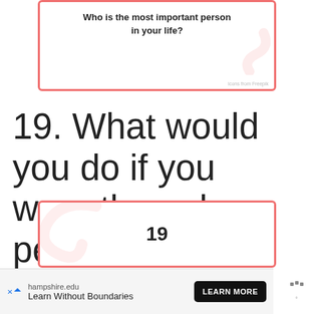[Figure (illustration): Card with pink border showing question: Who is the most important person in your life? with a decorative swirl watermark and Freepik attribution]
19. What would you do if you were the only person on the planet?
[Figure (illustration): Card with pink border showing number 19 with a decorative swirl watermark on the left]
hampshire.edu Learn Without Boundaries LEARN MORE